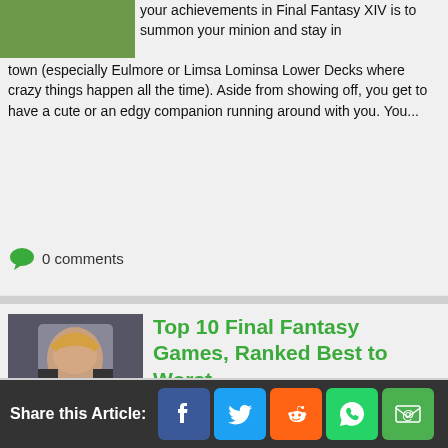[Figure (photo): Partial green/nature image cropped at top of page]
your achievements in Final Fantasy XIV is to summon your minion and stay in town (especially Eulmore or Limsa Lominsa Lower Decks where crazy things happen all the time). Aside from showing off, you get to have a cute or an edgy companion running around with you. You...
0 comments
[Figure (photo): Final Fantasy character - Lightning from FFXIII, female character with pink hair in dark armor]
Top 10 Final Fantasy Games, Ranked Best to Worst
Where is your favorite Final Fantasy game on this list? Let's take a look at the world of chocobos, moogles, and tonberries. It is very likely that this is the franchise that introduced you to the JRPG genre. It is also very likely that it was a Final Fantasy game that got you hooked on RPG's in...
3 comments
[Figure (photo): Dark sci-fi or fantasy game screenshot, dark atmospheric image]
10 Ways Video Games Help You In Real Life
Share this Article: